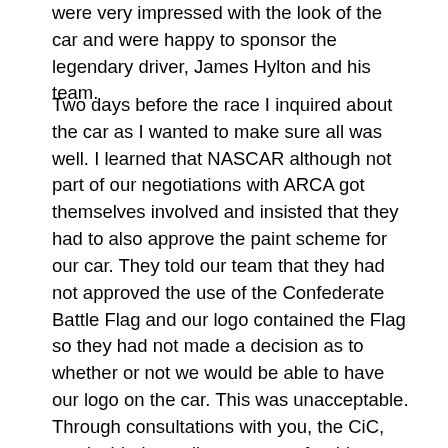were very impressed with the look of the car and were happy to sponsor the legendary driver, James Hylton and his team.
Two days before the race I inquired about the car as I wanted to make sure all was well. I learned that NASCAR although not part of our negotiations with ARCA got themselves involved and insisted that they had to also approve the paint scheme for our car. They told our team that they had not approved the use of the Confederate Battle Flag and our logo contained the Flag so they had not made a decision as to whether or not we would be able to have our logo on the car. This was unacceptable. Through consultations with you, the CiC, we decided to pull our support for this race and shift it to another venue more friendly to our cause. Even though the team wished to leave our name and contact info on the car for qualifying, it is best to move on to a race that will display our logo.